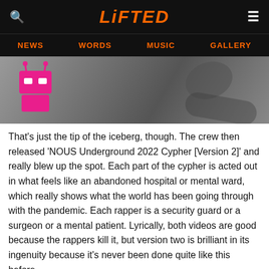LiFTED — NEWS  WORDS  MUSIC  GALLERY
[Figure (photo): Grayscale photo of a person with a pink robot/controller graphic overlay in the lower left corner]
That's just the tip of the iceberg, though. The crew then released 'NOUS Underground 2022 Cypher [Version 2]' and really blew up the spot. Each part of the cypher is acted out in what feels like an abandoned hospital or mental ward, which really shows what the world has been going through with the pandemic. Each rapper is a security guard or a surgeon or a mental patient. Lyrically, both videos are good because the rappers kill it, but version two is brilliant in its ingenuity because it's never been done quite like this before.